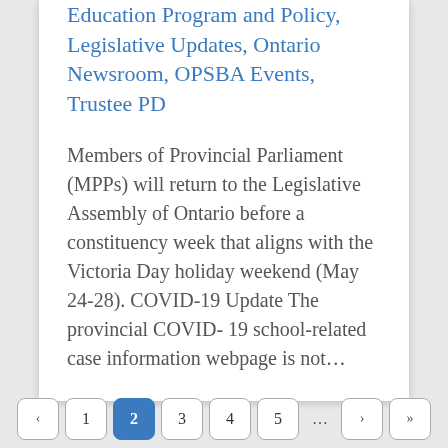Education Program and Policy, Legislative Updates, Ontario Newsroom, OPSBA Events, Trustee PD
Members of Provincial Parliament (MPPs) will return to the Legislative Assembly of Ontario before a constituency week that aligns with the Victoria Day holiday weekend (May 24-28). COVID-19 Update The provincial COVID-19 school-related case information webpage is not...
‹ 1 2 3 4 5 ... › »